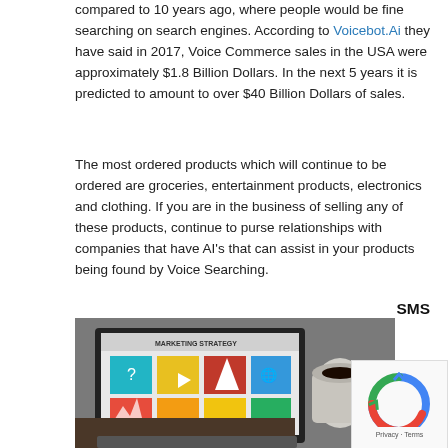compared to 10 years ago, where people would be fine searching on search engines. According to Voicebot.Ai they have said in 2017, Voice Commerce sales in the USA were approximately $1.8 Billion Dollars. In the next 5 years it is predicted to amount to over $40 Billion Dollars of sales.
The most ordered products which will continue to be ordered are groceries, entertainment products, electronics and clothing. If you are in the business of selling any of these products, continue to purse relationships with companies that have AI's that can assist in your products being found by Voice Searching.
SMS
[Figure (photo): Laptop showing a Marketing Strategy presentation with colorful icons, with a coffee cup in the background and a person typing.]
[Figure (other): reCAPTCHA widget with Privacy and Terms text.]